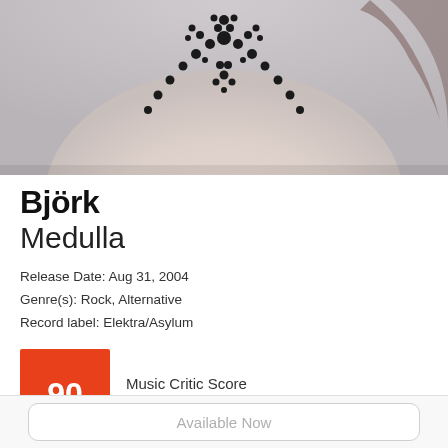[Figure (photo): Album cover photo showing Björk's torso with a black beaded necklace/jewelry piece against a light grey background]
Björk
Medulla
Release Date: Aug 31, 2004
Genre(s): Rock, Alternative
Record label: Elektra/Asylum
90 Music Critic Score
How the Music Critic Score works